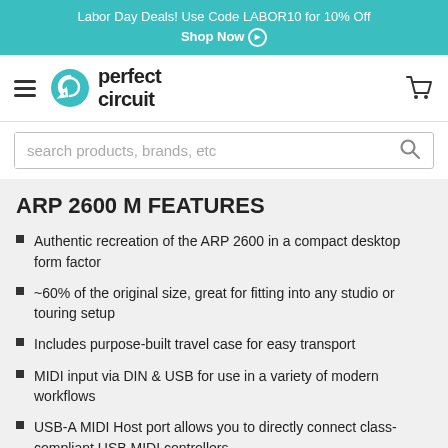Labor Day Deals! Use Code LABOR10 for 10% Off Shop Now
[Figure (logo): Perfect Circuit logo with teal circular arrows icon and bold lowercase text 'perfect circuit']
search products, brands, etc
ARP 2600 M FEATURES
Authentic recreation of the ARP 2600 in a compact desktop form factor
~60% of the original size, great for fitting into any studio or touring setup
Includes purpose-built travel case for easy transport
MIDI input via DIN & USB for use in a variety of modern workflows
USB-A MIDI Host port allows you to directly connect class-compliant USB MIDI controllers
The synth will come with FM, PWM and...